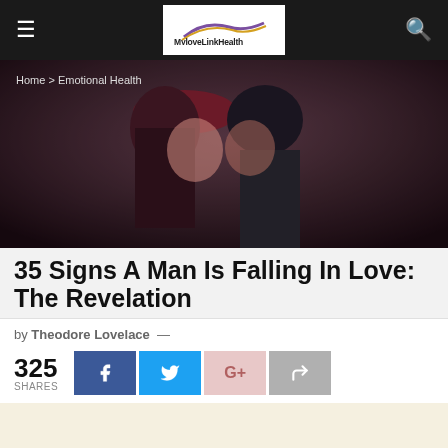MyloveLinkHealth
[Figure (photo): Hero image of a couple about to kiss, woman wearing a red beret, city background, dark romantic tone]
Home > Emotional Health
35 Signs A Man Is Falling In Love: The Revelation
by Theodore Lovelace —
325 SHARES
[Figure (infographic): Social share buttons: Facebook, Twitter, Google+, Forward]
[Figure (other): Advertisement block with cream/beige background]
Share This ∨ ✕